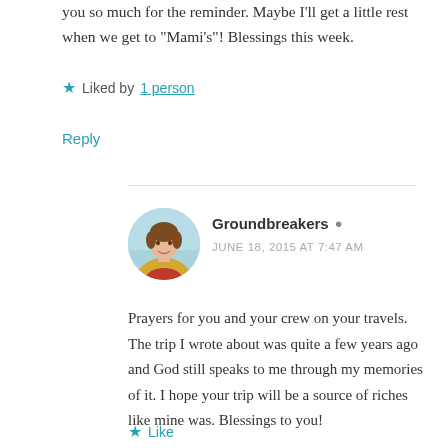you so much for the reminder. Maybe I'll get a little rest when we get to “Mami’s”! Blessings this week.
★ Liked by 1 person
Reply
[Figure (photo): Circular avatar photo of a woman with short brown hair wearing a yellow jacket and red top, with a light blue background.]
Groundbreakers ▾
JUNE 18, 2015 AT 7:47 AM
Prayers for you and your crew on your travels. The trip I wrote about was quite a few years ago and God still speaks to me through my memories of it. I hope your trip will be a source of riches like mine was. Blessings to you!
★ Like